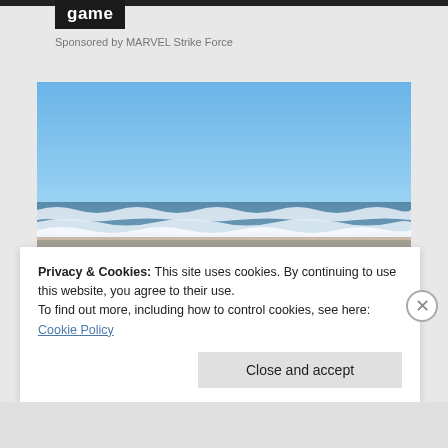game
Sponsored by MARVEL Strike Force
[Figure (photo): Beach scene showing ocean waves breaking on a sandy shore under a clear blue sky]
Privacy & Cookies: This site uses cookies. By continuing to use this website, you agree to their use.
To find out more, including how to control cookies, see here: Cookie Policy
Close and accept